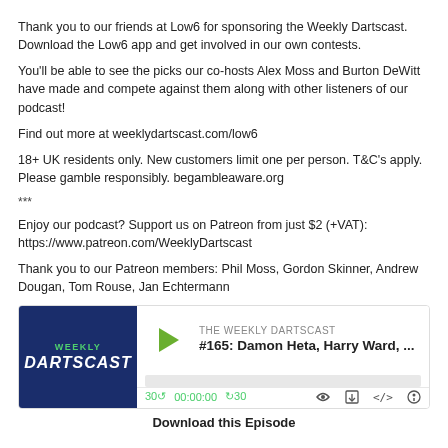Thank you to our friends at Low6 for sponsoring the Weekly Dartscast. Download the Low6 app and get involved in our own contests.
You'll be able to see the picks our co-hosts Alex Moss and Burton DeWitt have made and compete against them along with other listeners of our podcast!
Find out more at weeklydartscast.com/low6
18+ UK residents only. New customers limit one per person. T&C's apply. Please gamble responsibly. begambleaware.org
***
Enjoy our podcast? Support us on Patreon from just $2 (+VAT):
https://www.patreon.com/WeeklyDartscast
Thank you to our Patreon members: Phil Moss, Gordon Skinner, Andrew Dougan, Tom Rouse, Jan Echtermann
[Figure (screenshot): Podcast player widget for The Weekly Dartscast episode #165: Damon Heta, Harry Ward, ... showing a dark blue thumbnail with WEEKLY DARTSCAST logo, a green play button, episode title, progress bar, and playback controls showing 30-back, 00:00:00, 30-forward, and icons for stream, download, embed, and settings.]
Download this Episode